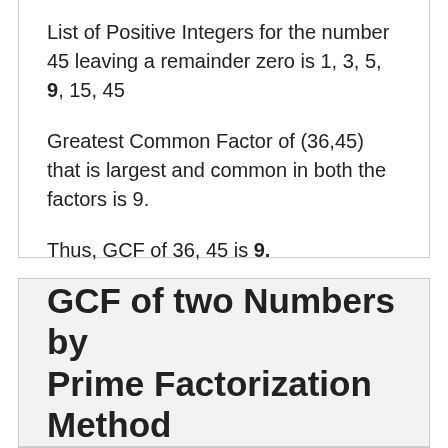List of Positive Integers for the number 45 leaving a remainder zero is 1, 3, 5, 9, 15, 45
Greatest Common Factor of (36,45) that is largest and common in both the factors is 9.
Thus, GCF of 36, 45 is 9.
GCF of two Numbers by Prime Factorization Method
In order to find the GCF of numbers using the prime factorization method list the prime